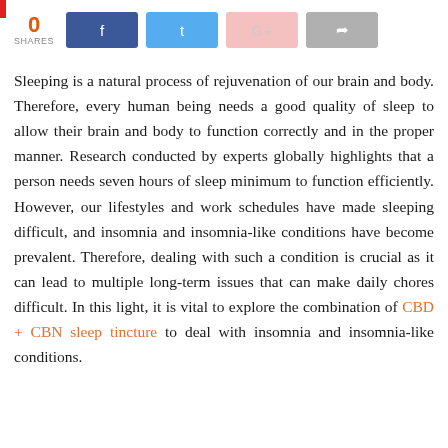[Figure (infographic): Social share bar showing 0 shares with Facebook, Twitter, Google+, and a generic share button]
Sleeping is a natural process of rejuvenation of our brain and body. Therefore, every human being needs a good quality of sleep to allow their brain and body to function correctly and in the proper manner. Research conducted by experts globally highlights that a person needs seven hours of sleep minimum to function efficiently. However, our lifestyles and work schedules have made sleeping difficult, and insomnia and insomnia-like conditions have become prevalent. Therefore, dealing with such a condition is crucial as it can lead to multiple long-term issues that can make daily chores difficult. In this light, it is vital to explore the combination of CBD + CBN sleep tincture to deal with insomnia and insomnia-like conditions.